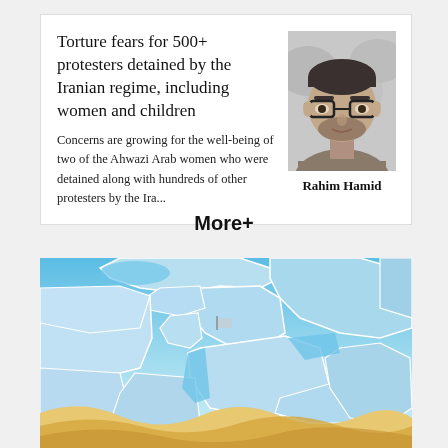Torture fears for 500+ protesters detained by the Iranian regime, including women and children
Concerns are growing for the well-being of two of the Ahwazi Arab women who were detained along with hundreds of other protesters by the Ira...
[Figure (photo): Grayscale portrait photo of Rahim Hamid, a man with glasses]
Rahim Hamid
More+
[Figure (map): Illustrated map of the Middle East and surrounding regions, with light blue water areas, white country borders, and sandy/gold colored desert areas at the bottom. Countries shown include Iraq, Saudi Arabia, Iran, and surrounding nations.]